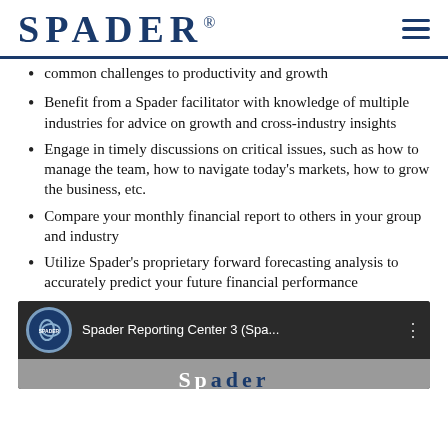SPADER®
common challenges to productivity and growth
Benefit from a Spader facilitator with knowledge of multiple industries for advice on growth and cross-industry insights
Engage in timely discussions on critical issues, such as how to manage the team, how to navigate today's markets, how to grow the business, etc.
Compare your monthly financial report to others in your group and industry
Utilize Spader's proprietary forward forecasting analysis to accurately predict your future financial performance
[Figure (screenshot): Video thumbnail showing Spader Reporting Center 3 YouTube video with Spader logo icon and partial Spader logo text visible in the video frame]